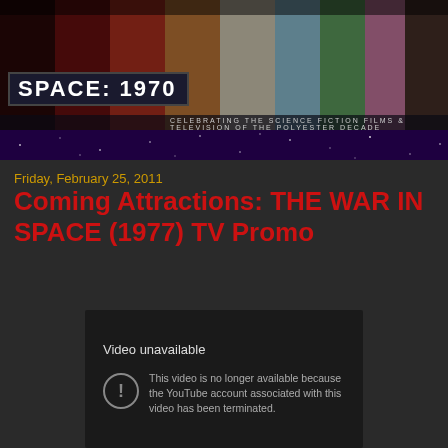[Figure (photo): Space: 1970 blog header banner with collage of science fiction film and TV characters in various colors, with logo box reading SPACE: 1970 and tagline CELEBRATING THE SCIENCE FICTION FILMS & TELEVISION OF THE POLYESTER DECADE]
Friday, February 25, 2011
Coming Attractions: THE WAR IN SPACE (1977) TV Promo
[Figure (screenshot): Embedded YouTube video player showing error state: Video unavailable - This video is no longer available because the YouTube account associated with this video has been terminated.]